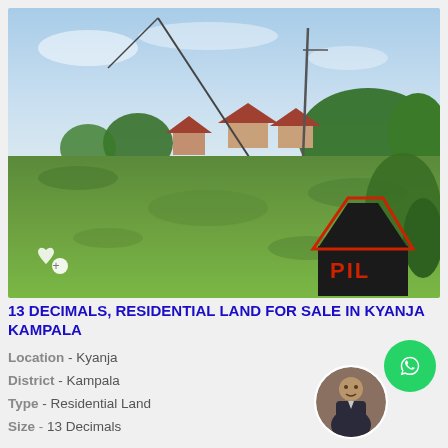[Figure (photo): Outdoor photo of a residential land plot in Kyanja Kampala — green grassy field with utility poles, leaning pole with wire, houses/trees in background, blue sky. A black house logo with red PIL text watermark in bottom right. Heart/plus icon overlay in bottom left.]
13 DECIMALS, RESIDENTIAL LAND FOR SALE IN KYANJA KAMPALA
Location - Kyanja
District - Kampala
Type - Residential Land
Size - 13 Decimals